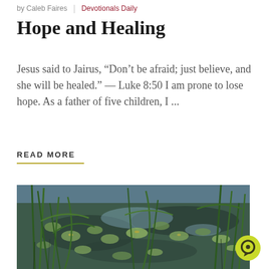by Caleb Faires | Devotionals Daily
Hope and Healing
Jesus said to Jairus, “Don’t be afraid; just believe, and she will be healed.” — Luke 8:50 I am prone to lose hope. As a father of five children, I ...
READ MORE
[Figure (photo): A photograph of a pond or wetland with lily pads floating on dark water and tall green reeds/cattails growing from the water, with reflections of sky visible.]